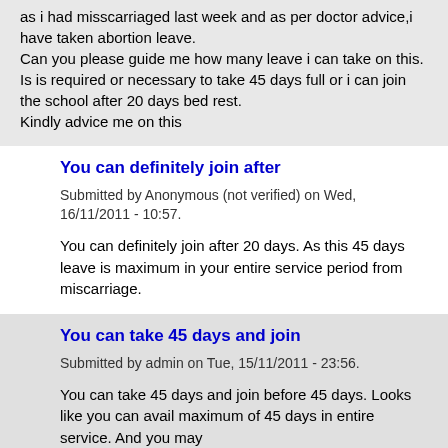as i had misscarriaged last week and as per doctor advice,i have taken abortion leave.
Can you please guide me how many leave i can take on this. Is is required or necessary to take 45 days full or i can join the school after 20 days bed rest.
Kindly advice me on this
You can definitely join after
Submitted by Anonymous (not verified) on Wed, 16/11/2011 - 10:57.
You can definitely join after 20 days. As this 45 days leave is maximum in your entire service period from miscarriage.
You can take 45 days and join
Submitted by admin on Tue, 15/11/2011 - 23:56.
You can take 45 days and join before 45 days. Looks like you can avail maximum of 45 days in entire service. And you may